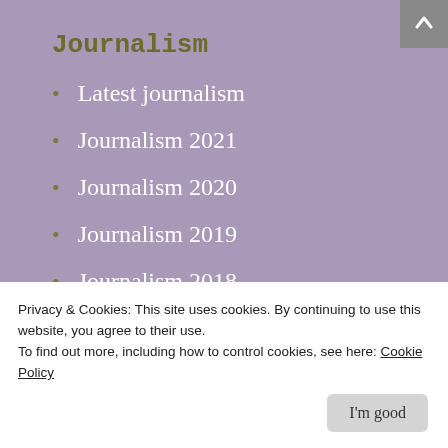Journalism
Latest journalism
Journalism 2021
Journalism 2020
Journalism 2019
Journalism 2018
Archives
Journalism 2017
Privacy & Cookies: This site uses cookies. By continuing to use this website, you agree to their use.
To find out more, including how to control cookies, see here: Cookie Policy
I'm good